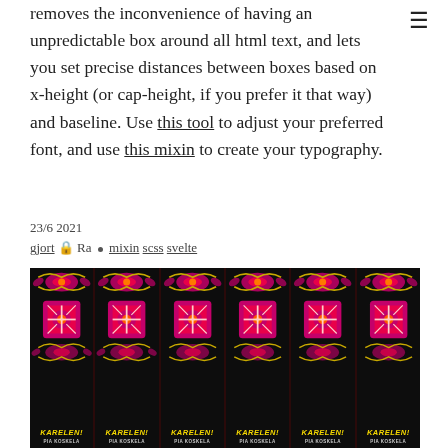removes the inconvenience of having an unpredictable box around all html text, and lets you set precise distances between boxes based on x-height (or cap-height, if you prefer it that way) and baseline. Use this tool to adjust your preferred font, and use this mixin to create your typography.
23/6 2021
gjort 🔒 Ra • mixin scss svelte
[Figure (photo): Six book spines displayed side by side, showing identical copies of 'KARELEN! by PIA KOSKELA'. Each spine has a dark black background with ornate floral/folk art pattern in pink, red and gold at the top, and yellow bold italic title text 'KARELEN!' with author name 'PIA KOSKELA' in white/grey at the bottom.]